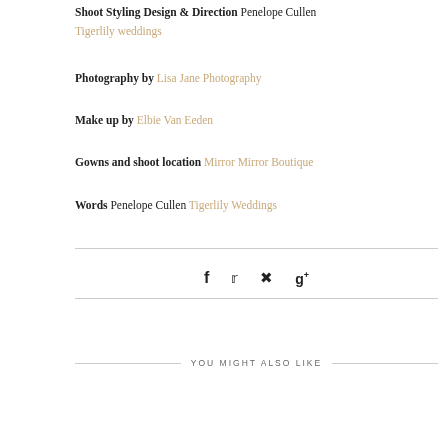Shoot Styling Design & Direction Penelope Cullen Tigerlily weddings
Photography by Lisa Jane Photography
Make up by Elbie Van Eeden
Gowns and shoot location Mirror Mirror Boutique
Words Penelope Cullen Tigerlily Weddings
[Figure (infographic): Social media share icons: Facebook, Twitter, Pinterest, Google+]
YOU MIGHT ALSO LIKE